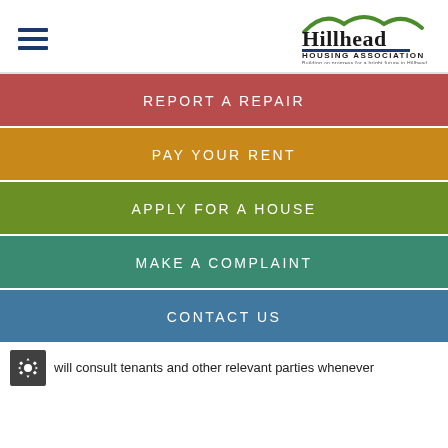[Figure (logo): Hillhead Housing Association logo with green hills graphic and tagline]
REPORT A REPAIR
PAY YOUR RENT
APPLY FOR A HOUSE
MAKE A COMPLAINT
CONTACT US
will consult tenants and other relevant parties whenever